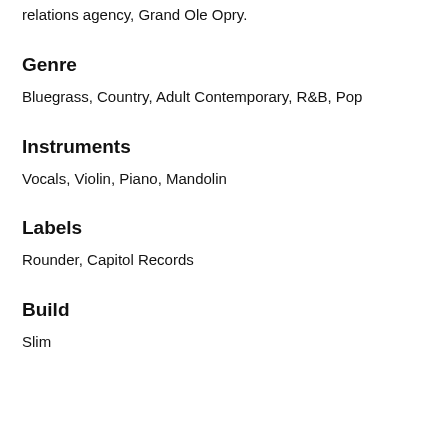relations agency, Grand Ole Opry.
Genre
Bluegrass, Country, Adult Contemporary, R&B, Pop
Instruments
Vocals, Violin, Piano, Mandolin
Labels
Rounder, Capitol Records
Build
Slim